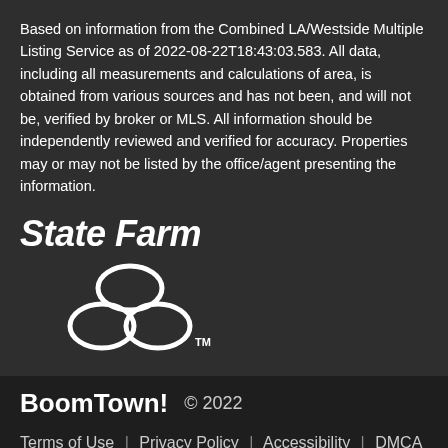Based on information from the Combined LA/Westside Multiple Listing Service as of 2022-08-22T18:43:03.583. All data, including all measurements and calculations of area, is obtained from various sources and has not been, and will not be, verified by broker or MLS. All information should be independently reviewed and verified for accuracy. Properties may or may not be listed by the office/agent presenting the information.
[Figure (logo): State Farm logo with italic bold text 'StateFarm' and three overlapping ovals symbol with TM mark]
[Figure (logo): BoomTown! logo text in bold white with '© 2022' beside it]
Terms of Use | Privacy Policy | Accessibility | DMCA | Listings Sitemap
Take a Tour
Ask A Question